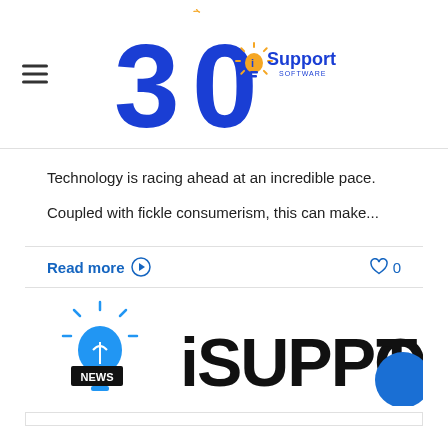[Figure (logo): iSupport Software 30 Years anniversary logo — large blue '30' numeral with lightbulb icon and 'iSupport SOFTWARE' text in blue/orange]
Technology is racing ahead at an incredible pace. Coupled with fickle consumerism, this can make...
Read more ⊙   ♡ 0
[Figure (logo): iSupport Software logo with NEWS badge — lightbulb icon on left with NEWS badge, large iSUPPORT text on right, blue circle on far right]